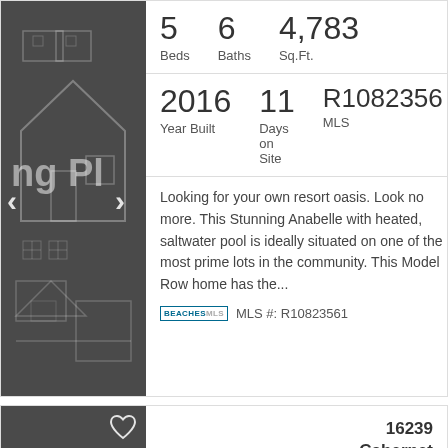[Figure (photo): Dark grey real estate listing card image showing a house blueprint/illustration overlay with left and right navigation arrows]
5 Beds   6 Baths   4,783 Sq.Ft.
2016 Year Built   11 Days on Site   R1082356 MLS
Looking for your own resort oasis. Look no more. This Stunning Anabelle with heated, saltwater pool is ideally situated on one of the most prime lots in the community. This Model Row home has the...
MLS #: R10823561
[Figure (photo): Dark grey placeholder real estate image with a heart/favorite icon in the top right corner]
16239 Cabernet Drive Delray
$1,650,000